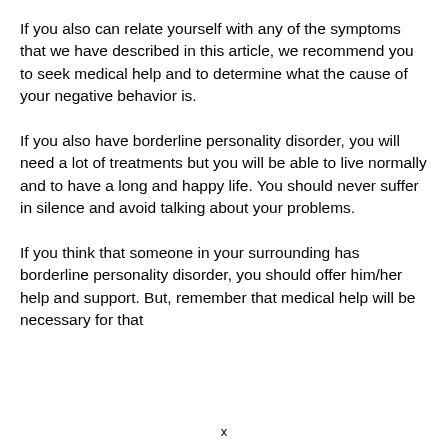If you also can relate yourself with any of the symptoms that we have described in this article, we recommend you to seek medical help and to determine what the cause of your negative behavior is.
If you also have borderline personality disorder, you will need a lot of treatments but you will be able to live normally and to have a long and happy life. You should never suffer in silence and avoid talking about your problems.
If you think that someone in your surrounding has borderline personality disorder, you should offer him/her help and support. But, remember that medical help will be necessary for that
x